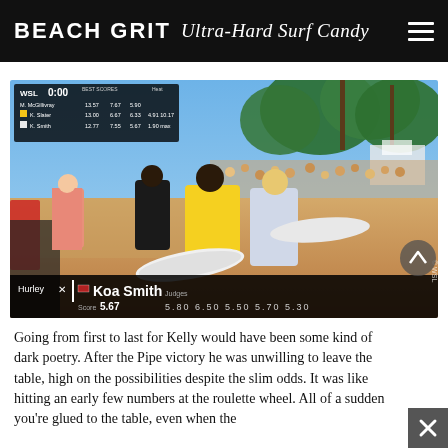BEACH GRIT Ultra-Hard Surf Candy
[Figure (photo): WSL surf competition photo showing Koa Smith and Kelly Slater on the beach, with a scoreboard overlay showing the contest results: M. McGillivray 13.57 / 7.67 / 5.90, K. Slater 13.00 / 6.67 / 6.33 / 4.91 / 10.17, K. Smith 12.77 / 7.55 / 5.67 / 1.90. Lower bar shows Koa Smith with Score: 5.67, Judges: 5.80 6.50 5.50 5.70 5.30]
Going from first to last for Kelly would have been some kind of dark poetry. After the Pipe victory he was unwilling to leave the table, high on the possibilities despite the slim odds. It was like hitting an early few numbers at the roulette wheel. All of a sudden you're glued to the table, even when the